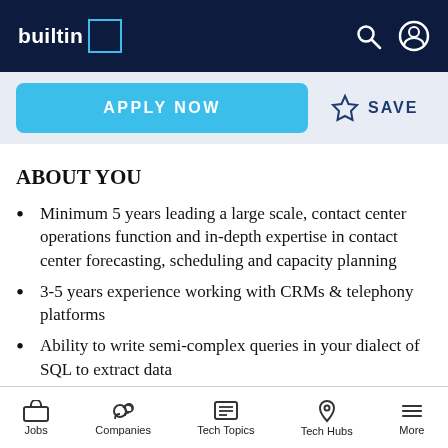builtin
APPLY NOW   ☆ SAVE
ABOUT YOU
Minimum 5 years leading a large scale, contact center operations function and in-depth expertise in contact center forecasting, scheduling and capacity planning
3-5 years experience working with CRMs & telephony platforms
Ability to write semi-complex queries in your dialect of SQL to extract data
Proficient in advanced Excel and/or other
Jobs   Companies   Tech Topics   Tech Hubs   More